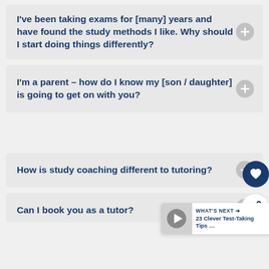I've been taking exams for [many] years and have found the study methods I like. Why should I start doing things differently?
I'm a parent – how do I know my [son / daughter] is going to get on with you?
How is study coaching different to tutoring?
Can I book you as a tutor?